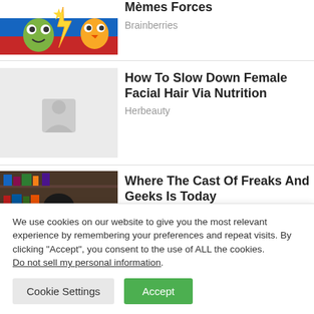[Figure (illustration): Cartoon/meme style illustration with Pokemon-like characters and Russian flag colors]
Memes Forces
Brainberries
[Figure (illustration): Empty/placeholder image area for article about female facial hair nutrition]
How To Slow Down Female Facial Hair Via Nutrition
Herbeauty
[Figure (photo): Photo of a young woman with dark hair in front of a bookshelf]
Where The Cast Of Freaks And Geeks Is Today
We use cookies on our website to give you the most relevant experience by remembering your preferences and repeat visits. By clicking “Accept”, you consent to the use of ALL the cookies.
Do not sell my personal information.
Cookie Settings
Accept